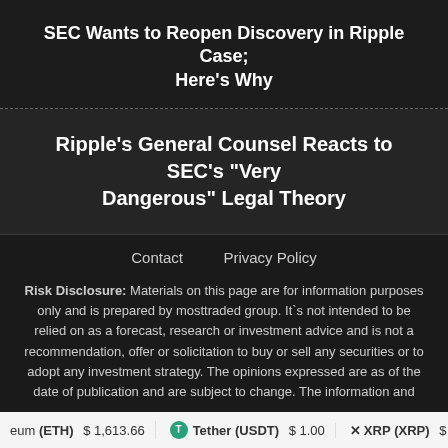SEC Wants to Reopen Discovery in Ripple Case; Here’s Why
Ripple’s General Counsel Reacts to SEC’s “Very Dangerous” Legal Theory
Contact   Privacy Policy
Risk Disclosure: Materials on this page are for information purposes only and is prepared by mosttraded group. It`s not intended to be relied on as a forecast, research or investment advice and is not a recommendation, offer or solicitation to buy or sell any securities or to adopt any investment strategy. The opinions expressed are as of the date of publication and are subject to change. The information and
eum (ETH)  $1,613.66    Tether (USDT)  $1.00    XRP (XRP)  $0.